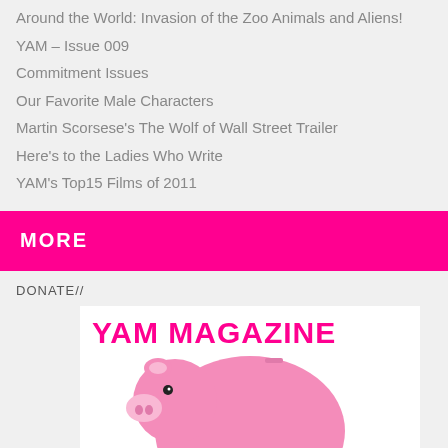Around the World: Invasion of the Zoo Animals and Aliens!
YAM – Issue 009
Commitment Issues
Our Favorite Male Characters
Martin Scorsese's The Wolf of Wall Street Trailer
Here's to the Ladies Who Write
YAM's Top15 Films of 2011
MORE
DONATE//
[Figure (other): YAM Magazine donation banner with pink piggy bank image]